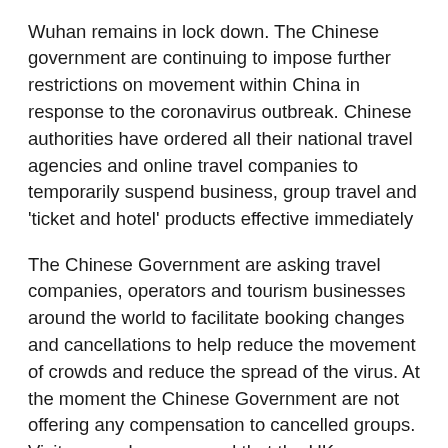Wuhan remains in lock down. The Chinese government are continuing to impose further restrictions on movement within China in response to the coronavirus outbreak. Chinese authorities have ordered all their national travel agencies and online travel companies to temporarily suspend business, group travel and 'ticket and hotel' products effective immediately
The Chinese Government are asking travel companies, operators and tourism businesses around the world to facilitate booking changes and cancellations to help reduce the movement of crowds and reduce the spread of the virus. At the moment the Chinese Government are not offering any compensation to cancelled groups. Visitors can be reassured that the UK Government is closely monitoring the situation and continues to work with the World Health Organisation (WHO) and international community. The risk to the UK population is assessed as low. The UK's public health measures are considered internationally recognised for